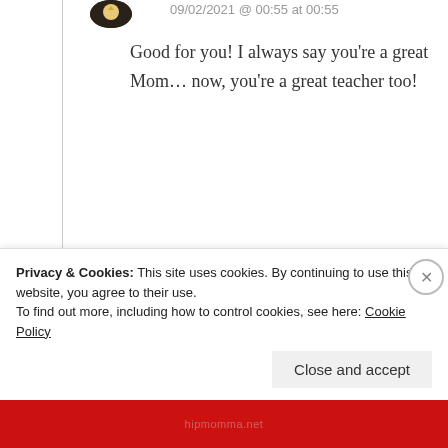09/02/2021 @ 00:55 at 00:55
Good for you! I always say you're a great Mom… now, you're a great teacher too!
★ Liked by 7 people
↪ Reply
Privacy & Cookies: This site uses cookies. By continuing to use this website, you agree to their use. To find out more, including how to control cookies, see here: Cookie Policy
Close and accept